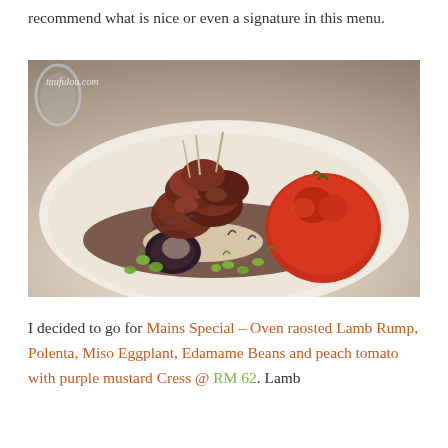recommend what is nice or even a signature in this menu.
[Figure (photo): A plated restaurant dish on a white plate featuring oven roasted lamb rump pieces, a large roasted tomato, polenta, miso eggplant, edamame beans, and purple mustard cress microgreens, with a brown sauce. Watermark: taufulou.com]
I decided to go for Mains Special – Oven raosted Lamb Rump, Polenta, Miso Eggplant, Edamame Beans and peach tomato with purple mustard Cress @ RM 62. Lamb